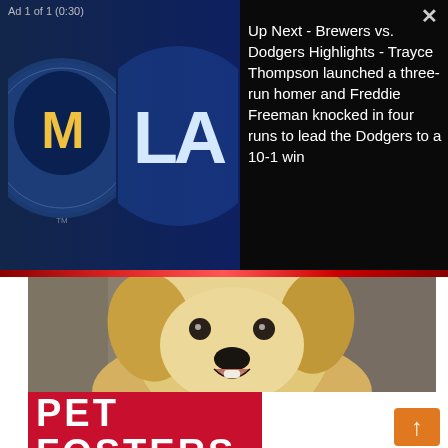Ad 1 of 1 (0:30)
Up Next - Brewers vs. Dodgers Highlights - Trayce Thompson launched a three-run homer and Freddie Freeman knocked in four runs to lead the Dodgers to a 10-1 win
[Figure (photo): A smiling golden retriever/Labrador mix dog looking at the camera with an open mouth, photographed close-up]
PET FOSTERS